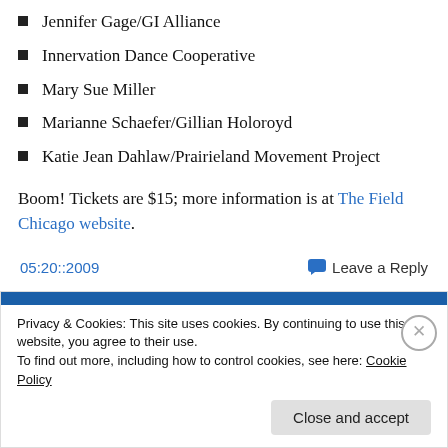Jennifer Gage/GI Alliance
Innervation Dance Cooperative
Mary Sue Miller
Marianne Schaefer/Gillian Holoroyd
Katie Jean Dahlaw/Prairieland Movement Project
Boom! Tickets are $15; more information is at The Field Chicago website.
05:20::2009
Leave a Reply
Privacy & Cookies: This site uses cookies. By continuing to use this website, you agree to their use.
To find out more, including how to control cookies, see here: Cookie Policy
Close and accept